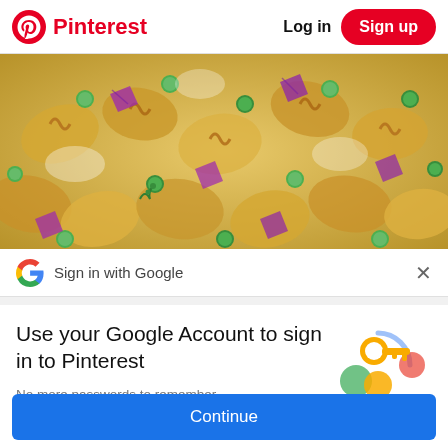Pinterest   Log in   Sign up
[Figure (photo): Close-up photo of pasta salad with rotini pasta, green peas, red onion, dill and creamy dressing]
Sign in with Google
Use your Google Account to sign in to Pinterest
No more passwords to remember. Signing in is fast, simple and secure.
[Figure (illustration): Google key icon illustration with colorful circles]
Continue